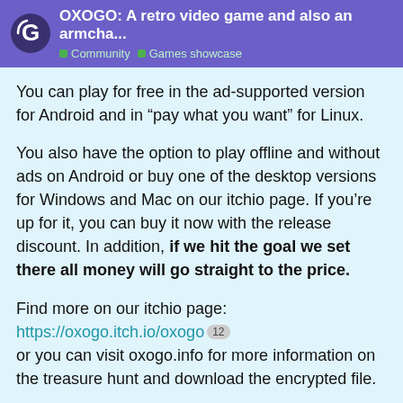OXOGO: A retro video game and also an armcha... | Community | Games showcase
You can play for free in the ad-supported version for Android and in “pay what you want” for Linux.
You also have the option to play offline and without ads on Android or buy one of the desktop versions for Windows and Mac on our itchio page. If you’re up for it, you can buy it now with the release discount. In addition, if we hit the goal we set there all money will go straight to the price.
Find more on our itchio page: https://oxogo.itch.io/oxogo [12] or you can visit oxogo.info for more information on the treasure hunt and download the encrypted file.
We have been interviewed by the website Game Develo... [3]
1 / 1